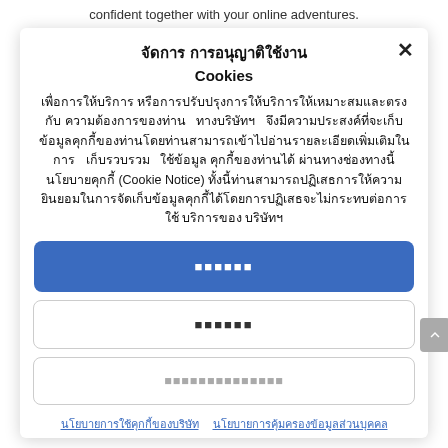confident together with your online adventures.
จัดการ การอนุญาติใช้งาน Cookies
เพื่อการให้บริการ หรือการปรับปรุงการให้บริการให้เหมาะสมและตรงกับความต้องการของท่าน ทางบริษัทฯ จึงมีความประสงค์ที่จะเก็บข้อมูลคุกกี้ของท่านโดยท่านสามารถเข้าไปอ่านรายละเอียดเพิ่มเติมในการ เก็บรวบรวม ใช้ข้อมูล คุกกี้ของท่านได้ ผ่านทางช่องทางนี้ นโยบายคุกกี้ (Cookie Notice) ทั้งนี้ท่านสามารถปฏิเสธการให้ความยินยอมในการจัดเก็บข้อมูลคุกกี้ได้โดยการปฏิเสธจะไม่กระทบต่อการใช้บริการของ บริษัทฯ
ยอมรับ
ปฏิเสธ
ตั้งค่าคุกกี้
นโยบายการใช้คุกกี้ของบริษัท  นโยบายการคุ้มครองข้อมูลส่วนบุคคล